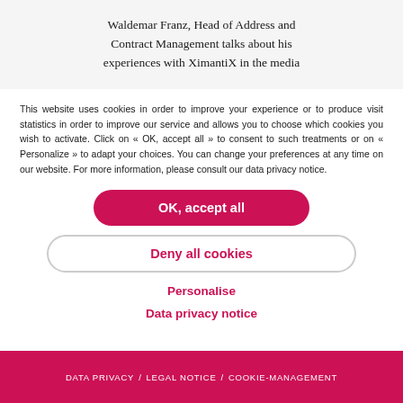Waldemar Franz, Head of Address and Contract Management talks about his experiences with XimantiX in the media
This website uses cookies in order to improve your experience or to produce visit statistics in order to improve our service and allows you to choose which cookies you wish to activate. Click on « OK, accept all » to consent to such treatments or on « Personalize » to adapt your choices. You can change your preferences at any time on our website. For more information, please consult our data privacy notice.
OK, accept all
Deny all cookies
Personalise
Data privacy notice
DATA PRIVACY / LEGAL NOTICE / COOKIE-MANAGEMENT